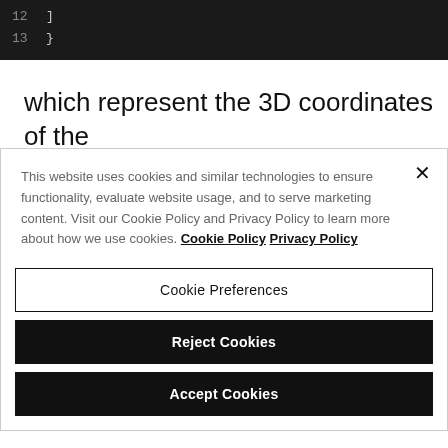[Figure (screenshot): Code block with dark background showing lines 12 and 13: line 12 has ']' and line 13 has '}']
which represent the 3D coordinates of the
This website uses cookies and similar technologies to ensure functionality, evaluate website usage, and to serve marketing content. Visit our Cookie Policy and Privacy Policy to learn more about how we use cookies. Cookie Policy Privacy Policy
Cookie Preferences
Reject Cookies
Accept Cookies